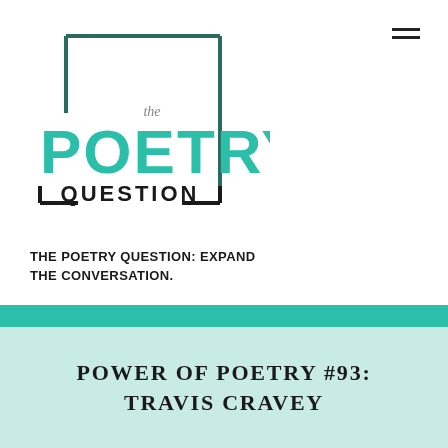[Figure (logo): The Poetry Question logo — a square bracket outline in teal/dark green with 'the' in small gray text, 'POETRY' in large teal uppercase letters, and 'QUESTION' in smaller dark uppercase letters with bracket corners]
THE POETRY QUESTION: EXPAND THE CONVERSATION.
POWER OF POETRY #93: TRAVIS CRAVEY